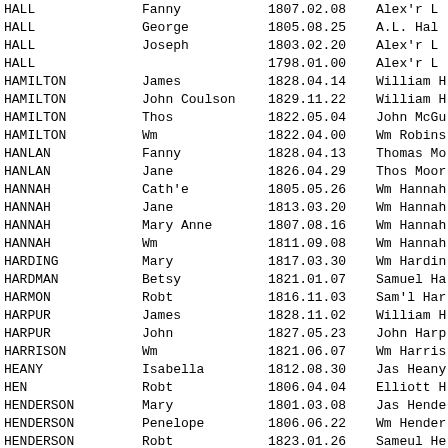| Surname | Given Name | Date | Parent/Guardian |
| --- | --- | --- | --- |
| HALL | Fanny | 1807.02.08 | Alex'r L |
| HALL | George | 1805.08.25 | A.L. Hal |
| HALL | Joseph | 1803.02.20 | Alex'r L |
| HALL |  | 1798.01.00 | Alex'r L |
| HAMILTON | James | 1828.04.14 | William H |
| HAMILTON | John Coulson | 1829.11.22 | William H |
| HAMILTON | Thos | 1822.05.04 | John McGu |
| HAMILTON | Wm | 1822.04.00 | Wm Robins |
| HANLAN | Fanny | 1828.04.13 | Thomas Mo |
| HANLAN | Jane | 1826.04.29 | Thos Moor |
| HANNAH | Cath'e | 1805.05.26 | Wm Hannah |
| HANNAH | Jane | 1813.03.20 | Wm Hannah |
| HANNAH | Mary Anne | 1807.08.16 | Wm Hannah |
| HANNAH | Wm | 1811.09.08 | Wm Hannah |
| HARDING | Mary | 1817.03.30 | Wm Hardin |
| HARDMAN | Betsy | 1821.01.07 | Samuel Ha |
| HARMON | Robt | 1816.11.03 | Sam'l Har |
| HARPUR | James | 1828.11.02 | William H |
| HARPUR | John | 1827.05.23 | John Harp |
| HARRISON | Wm | 1821.06.07 | Wm Harris |
| HEANY | Isabella | 1812.08.30 | Jas Heany |
| HEN | Robt | 1806.04.04 | Elliott H |
| HENDERSON | Mary | 1801.03.08 | Jas Hende |
| HENDERSON | Penelope | 1806.06.22 | Wm Hender |
| HENDERSON | Robt | 1823.01.26 | Sameul He |
| HENDERSON | Wm | 1803.06.17 | Robt Alle |
| HENRY | Elinor | 1814.04.11 | Jas Henry |
| HENRY | Eliz'th | 1806.06.15 | Jas Henry |
| HENRY | Mary | 1821.01.04 | Jas Henry |
| HETHERINGTON | Henry Wm | 1824.12.07 | Henry Het |
| HETHERINGTON | Jane | 1824.10.07 | Henry He |